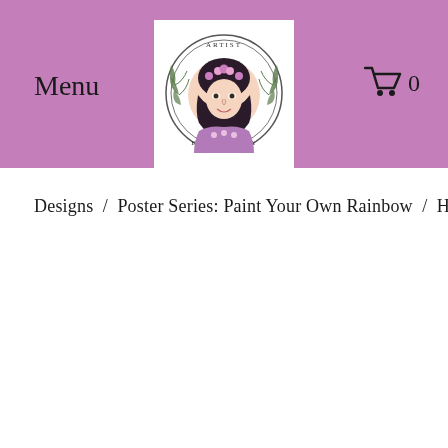Menu
[Figure (logo): Artist Emily Lupita logo — circular portrait of a woman with dark hair and floral crown, surrounded by leaf branches, with text 'ARTIST' at top and 'EMILY LUPITA' at bottom, on white background]
0
Designs  /  Poster Series: Paint Your Own Rainbow  /  Home  /  Rug